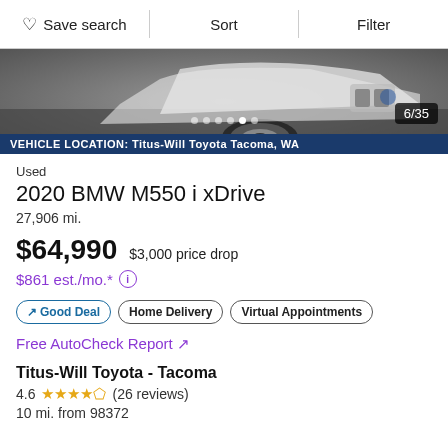♡ Save search | Sort | Filter
[Figure (photo): Partial photo of a white BMW M550i xDrive showing wheel and front, overlaid with image counter 6/35 and location bar reading VEHICLE LOCATION: Titus-Will Toyota Tacoma, WA]
Used
2020 BMW M550 i xDrive
27,906 mi.
$64,990  $3,000 price drop
$861 est./mo.*
↗ Good Deal  Home Delivery  Virtual Appointments
Free AutoCheck Report ↗
Titus-Will Toyota - Tacoma
4.6 ★★★★½ (26 reviews)
10 mi. from 98372